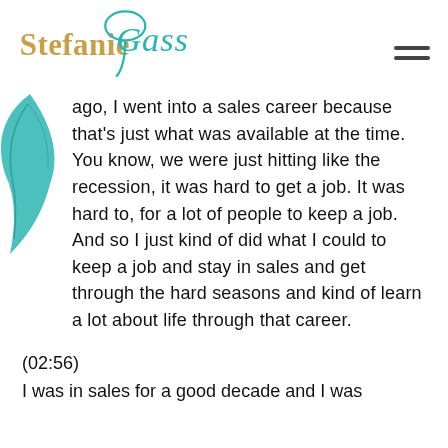[Figure (logo): Stefanie Gass logo with teal cursive script and gold serif lettering]
ago, I went into a sales career because that's just what was available at the time. You know, we were just hitting like the recession, it was hard to get a job. It was hard to, for a lot of people to keep a job. And so I just kind of did what I could to keep a job and stay in sales and get through the hard seasons and kind of learn a lot about life through that career.
(02:56)
I was in sales for a good decade and I was